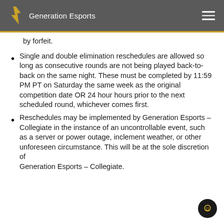Generation Esports
by forfeit.
Single and double elimination reschedules are allowed so long as consecutive rounds are not being played back-to-back on the same night. These must be completed by 11:59 PM PT on Saturday the same week as the original competition date OR 24 hour hours prior to the next scheduled round, whichever comes first.
Reschedules may be implemented by Generation Esports - Collegiate in the instance of an uncontrollable event, such as a server or power outage, inclement weather, or other unforeseen circumstance. This will be at the sole discretion of Generation Esports - Collegiate.